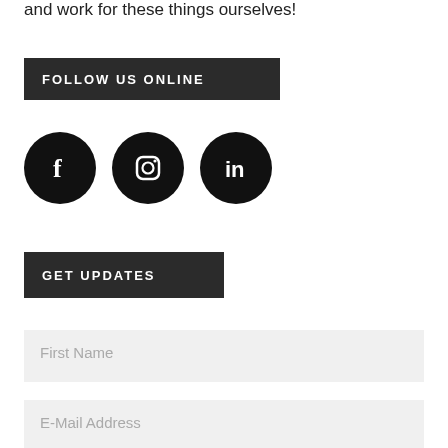and work for these things ourselves!
FOLLOW US ONLINE
[Figure (illustration): Three social media icons (Facebook, Instagram, LinkedIn) as white icons on black circles]
GET UPDATES
First Name
E-Mail Address